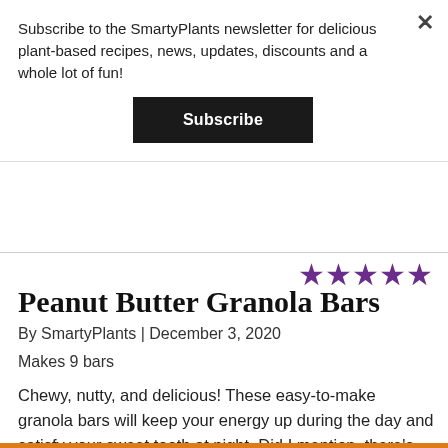Subscribe to the SmartyPlants newsletter for delicious plant-based recipes, news, updates, discounts and a whole lot of fun!
Subscribe
[Figure (other): Five purple star rating icons in a row]
Peanut Butter Granola Bars
By SmartyPlants | December 3, 2020
Makes 9 bars
Chewy, nutty, and delicious! These easy-to-make granola bars will keep your energy up during the day and satisfy your sweet tooth at night. Did I mention, there’s no baking involved?